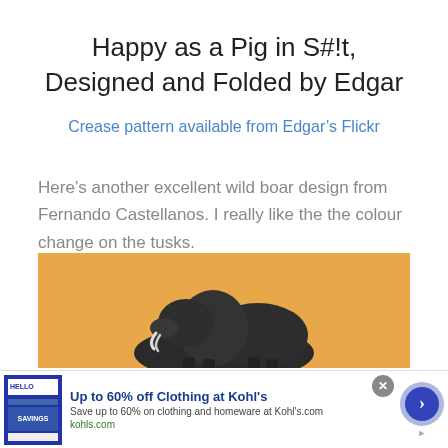Happy as a Pig in S#!t, Designed and Folded by Edgar
Crease pattern available from Edgar’s Flickr
Here’s another excellent wild boar design from Fernando Castellanos. I really like the the colour change on the tusks.
[Figure (photo): Photograph of an origami wild boar (dark paper) on an orange/amber background]
[Figure (infographic): Advertisement banner: Up to 60% off Clothing at Kohl's. Save up to 60% on clothing and homeware at Kohl's.com. kohls.com]